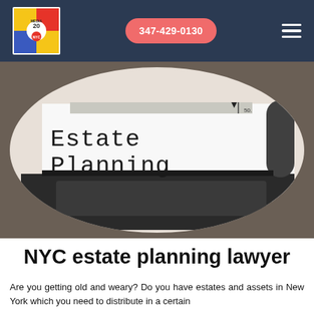347-429-0130
[Figure (photo): Close-up photo of a typewriter with paper showing the text 'Estate Planning' typed in large serif typewriter font, with typewriter mechanical parts visible in the foreground and background.]
NYC estate planning lawyer
Are you getting old and weary? Do you have estates and assets in New York which you need to distribute in a certain